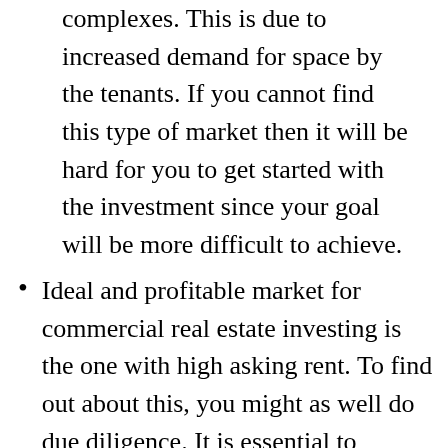complexes. This is due to increased demand for space by the tenants. If you cannot find this type of market then it will be hard for you to get started with the investment since your goal will be more difficult to achieve.
Ideal and profitable market for commercial real estate investing is the one with high asking rent. To find out about this, you might as well do due diligence. It is essential to research the market so you can find comparison of average asking rent price. The higher the asking rent price is, the more profit you can potentially gain especially when your purchase is considerably low.
Low vacancy rate is supposed to be included in the criteria of profitable commercial real estate market. It will become more profitable if the market has